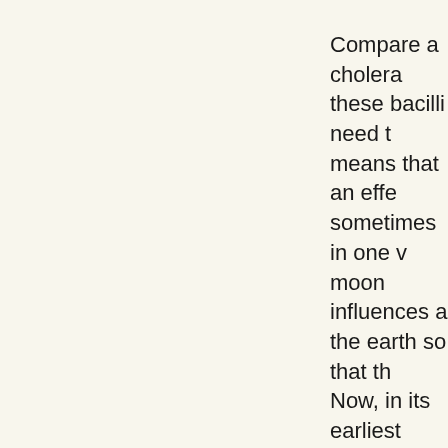Compare a cholera these bacilli need t means that an effe sometimes in one v moon influences a the earth so that th Now, in its earliest the moon just befo egg exists in the fe however, that the h the body it become
Women discharge s for a short time an course of the mont
The human organiz Cholera bacilli, for